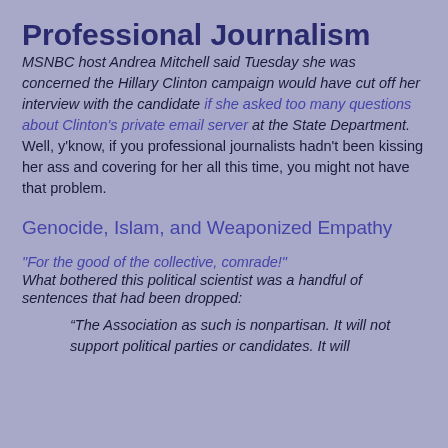Professional Journalism
MSNBC host Andrea Mitchell said Tuesday she was concerned the Hillary Clinton campaign would have cut off her interview with the candidate if she asked too many questions about Clinton's private email server at the State Department.
Well, y'know, if you professional journalists hadn't been kissing her ass and covering for her all this time, you might not have that problem.
Genocide, Islam, and Weaponized Empathy
"For the good of the collective, comrade!"
What bothered this political scientist was a handful of sentences that had been dropped:
“The Association as such is nonpartisan. It will not support political parties or candidates. It will